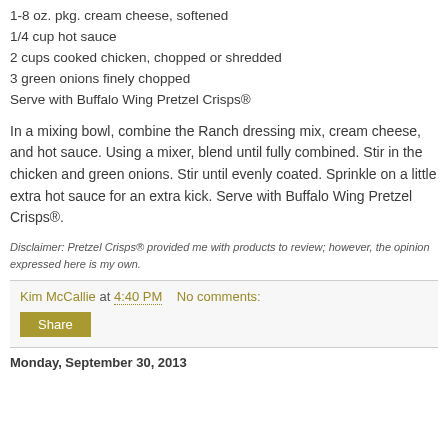1-8 oz. pkg. cream cheese, softened
1/4 cup hot sauce
2 cups cooked chicken, chopped or shredded
3 green onions finely chopped
Serve with Buffalo Wing Pretzel Crisps®
In a mixing bowl, combine the Ranch dressing mix, cream cheese, and hot sauce. Using a mixer, blend until fully combined. Stir in the chicken and green onions. Stir until evenly coated. Sprinkle on a little extra hot sauce for an extra kick. Serve with Buffalo Wing Pretzel Crisps®.
Disclaimer: Pretzel Crisps® provided me with products to review; however, the opinion expressed here is my own.
Kim McCallie at 4:40 PM   No comments:
Share
Monday, September 30, 2013